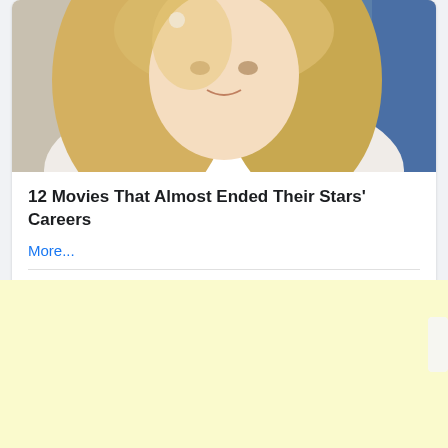[Figure (photo): Blonde woman wearing white lace top and cream choker necklace, blue background visible on right]
12 Movies That Almost Ended Their Stars' Careers
More...
👍 784  💬 196  ➤ 261
[Figure (photo): Person with blue hair at what appears to be a banquet or event hall with golden curtain backdrop and floral arrangements]
[Figure (other): Light yellow advertisement banner area]